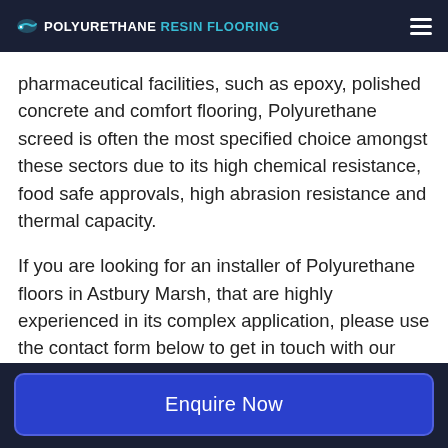POLYURETHANE RESIN FLOORING
pharmaceutical facilities, such as epoxy, polished concrete and comfort flooring, Polyurethane screed is often the most specified choice amongst these sectors due to its high chemical resistance, food safe approvals, high abrasion resistance and thermal capacity.
If you are looking for an installer of Polyurethane floors in Astbury Marsh, that are highly experienced in its complex application, please use the contact form below to get in touch with our team. We can help with your flooring project in Astbury Marsh and offer a
Enquire Now